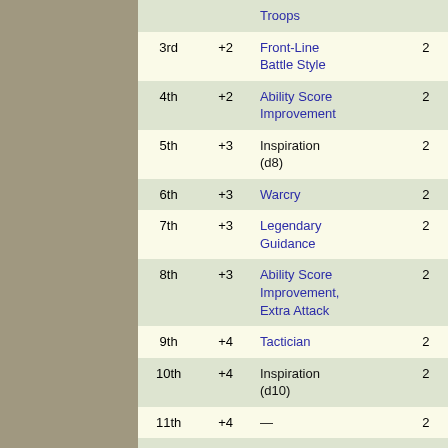| Level | Prof. Bonus | Features | Uses |
| --- | --- | --- | --- |
|  |  | Troops |  |
| 3rd | +2 | Front-Line Battle Style | 2 |
| 4th | +2 | Ability Score Improvement | 2 |
| 5th | +3 | Inspiration (d8) | 2 |
| 6th | +3 | Warcry | 2 |
| 7th | +3 | Legendary Guidance | 2 |
| 8th | +3 | Ability Score Improvement, Extra Attack | 2 |
| 9th | +4 | Tactician | 2 |
| 10th | +4 | Inspiration (d10) | 2 |
| 11th | +4 | — | 2 |
| 12th | +4 | Ability Score Improvement | 2 |
| 13th | +5 | — | 2 |
| 14th | +5 | Master | 2 |